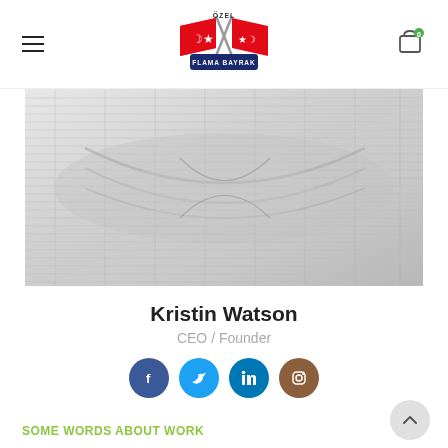Özel Flama Bayrak logo with hamburger menu and cart icon
[Figure (photo): Close-up photo of grey ribbed/striped fabric textile, twisted and folded]
Kristin Watson
CEO / Founder
[Figure (infographic): Social media icons: Facebook (blue), Twitter (cyan), LinkedIn (teal), Instagram (brown)]
SOME WORDS ABOUT WORK